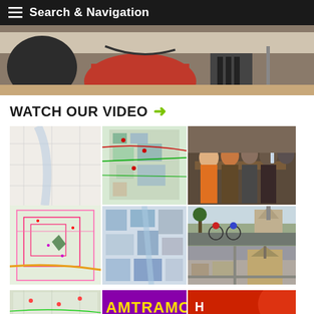Search & Navigation
[Figure (photo): Close-up photo of people seated at a table in a meeting room]
WATCH OUR VIDEO →
[Figure (photo): Collage of images including city maps, community meetings, cyclists, church aerial view, and Hamtramck mural/sign]
HEALTH ATLAS →